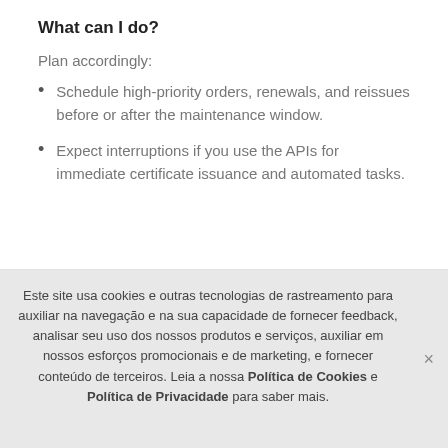What can I do?
Plan accordingly:
Schedule high-priority orders, renewals, and reissues before or after the maintenance window.
Expect interruptions if you use the APIs for immediate certificate issuance and automated tasks.
Este site usa cookies e outras tecnologias de rastreamento para auxiliar na navegação e na sua capacidade de fornecer feedback, analisar seu uso dos nossos produtos e serviços, auxiliar em nossos esforços promocionais e de marketing, e fornecer conteúdo de terceiros. Leia a nossa Política de Cookies e Política de Privacidade para saber mais.